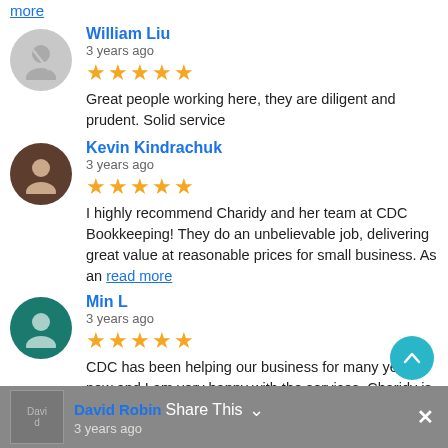more
William Liu
3 years ago
★★★★★ Great people working here, they are diligent and prudent. Solid service
Kevin Kindrachuk
3 years ago
★★★★★ I highly recommend Charidy and her team at CDC Bookkeeping! They do an unbelievable job, delivering great value at reasonable prices for small business. As an read more
Min L
3 years ago
★★★★★ CDC has been helping our business for many years now and I am very happy with the services. Charidy is the one helping us with bookkeeping. She is very read more
David Robin
3 years ago
Share This